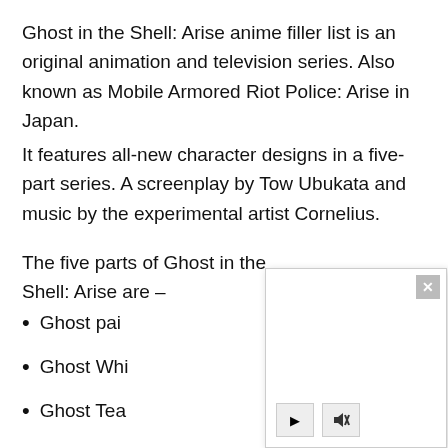Ghost in the Shell: Arise anime filler list is an original animation and television series. Also known as Mobile Armored Riot Police: Arise in Japan.
It features all-new character designs in a five-part series. A screenplay by Tow Ubukata and music by the experimental artist Cornelius.
The five parts of Ghost in the Shell: Arise are –
Ghost pai[n]...
Ghost Whi[sper]...
Ghost Tea[rs]...
Ghost Sta[nd Alone]...